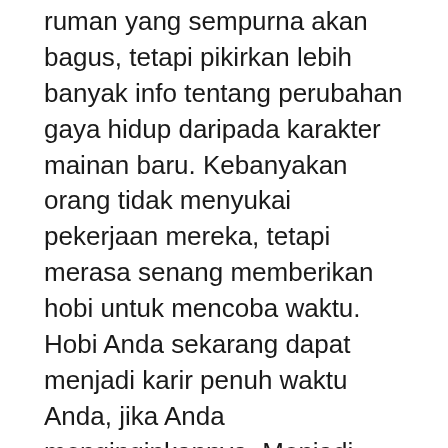ruman yang sempurna akan bagus, tetapi pikirkan lebih banyak info tentang perubahan gaya hidup daripada karakter mainan baru. Kebanyakan orang tidak menyukai pekerjaan mereka, tetapi merasa senang memberikan hobi untuk mencoba waktu. Hobi Anda sekarang dapat menjadi karir penuh waktu Anda, jika Anda menginginkannya. Menjadi bahagia berarti menghabiskan waktu Anda melakukan apa yang Anda sukai.
Pengalaman juga memungkinkan Anda untuk menjadi lebih bijaksana. Mungkin melihat kembali bagaimana Anda benar-benar menjadi permainan, dan Anda dapat menentukan kesalahan yang Anda buat dari pemilihan nomor Anda – untuk menghindari